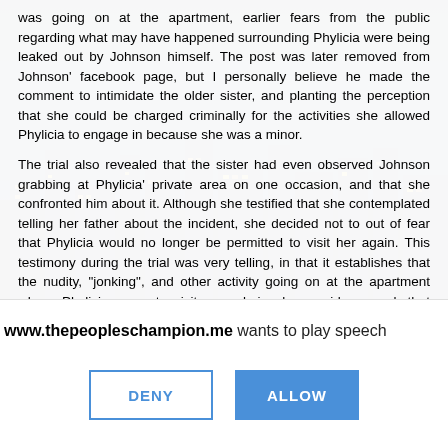was going on at the apartment, earlier fears from the public regarding what may have happened surrounding Phylicia were being leaked out by Johnson himself. The post was later removed from Johnson' facebook page, but I personally believe he made the comment to intimidate the older sister, and planting the perception that she could be charged criminally for the activities she allowed Phylicia to engage in because she was a minor.
The trial also revealed that the sister had even observed Johnson grabbing at Phylicia' private area on one occasion, and that she confronted him about it. Although she testified that she contemplated telling her father about the incident, she decided not to out of fear that Phylicia would no longer be permitted to visit her again. This testimony during the trial was very telling, in that it establishes that the nudity, "jonking", and other activity going on at the apartment where Phylicia came to visit was obviously so wide spread, that Johnson felt comfortable enough
www.thepeopleschampion.me wants to play speech
[Figure (other): DENY and ALLOW browser dialog buttons]